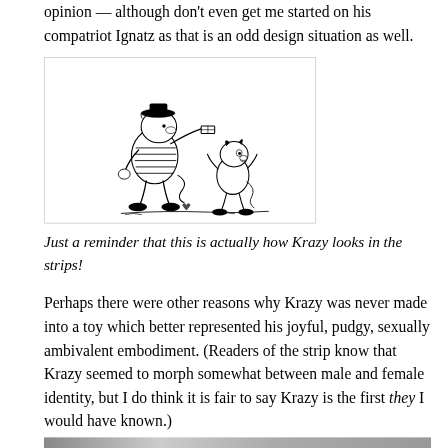opinion — although don't even get me started on his compatriot Ignatz as that is an odd design situation as well.
[Figure (illustration): Black and white comic strip illustration showing Ignatz mouse throwing a brick at Krazy Kat. Ignatz is a larger figure on the left wearing a striped outfit, and Krazy Kat is a smaller cat figure on the right. Classic Krazy Kat comic strip art style.]
Just a reminder that this is actually how Krazy looks in the strips!
Perhaps there were other reasons why Krazy was never made into a toy which better represented his joyful, pudgy, sexually ambivalent embodiment. (Readers of the strip know that Krazy seemed to morph somewhat between male and female identity, but I do think it is fair to say Krazy is the first they I would have known.)
[Figure (photo): Partial view of a black and white photograph at the bottom of the page, cut off.]